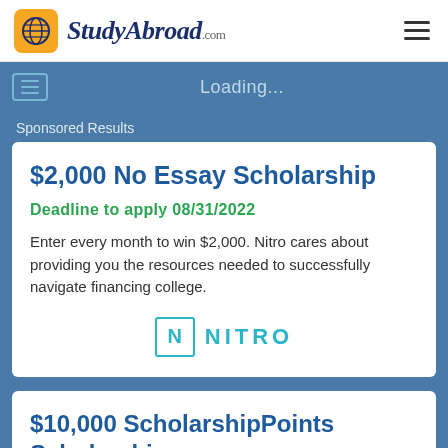[Figure (logo): StudyAbroad.com logo with globe icon and hamburger menu]
Loading...
Sponsored Results
$2,000 No Essay Scholarship
Deadline to apply 08/31/2022
Enter every month to win $2,000. Nitro cares about providing you the resources needed to successfully navigate financing college.
[Figure (logo): Nitro logo with N in a box]
$10,000 ScholarshipPoints Scholarship